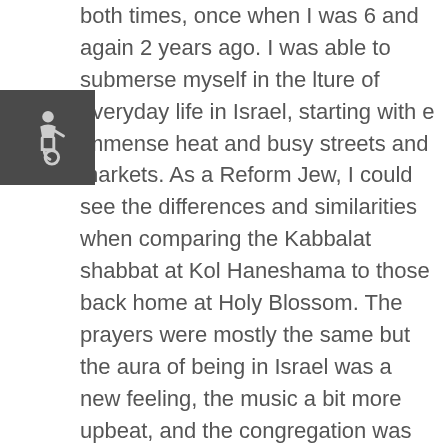[Figure (illustration): Accessibility icon (wheelchair symbol) in a dark square box in the upper left area of the page]
both times, once when I was 6 and again 2 years ago. I was able to submerse myself in the lture of everyday life in Israel, starting with e immense heat and busy streets and markets. As a Reform Jew, I could see the differences and similarities when comparing the Kabbalat shabbat at Kol Haneshama to those back home at Holy Blossom. The prayers were mostly the same but the aura of being in Israel was a new feeling, the music a bit more upbeat, and the congregation was more involved; I could feel the presence of everyone who was in the service. We were invited to one of my brother's friends' homes for Shabbat dinner afterwards and had a very rich experience. 2 years ago we were invited to Israel to attend Bar Shani's wedding, she was a